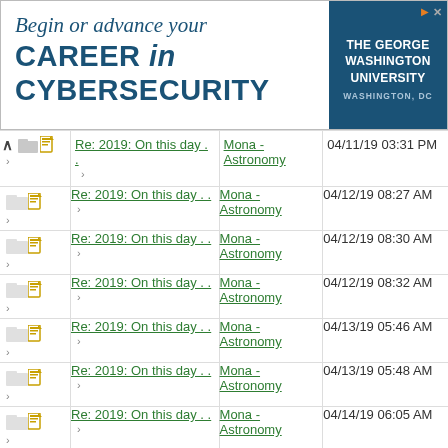[Figure (screenshot): Advertisement banner for The George Washington University: 'Begin or advance your CAREER in CYBERSECURITY', Washington, DC]
|  | Subject | From | Date |
| --- | --- | --- | --- |
| ^ [folder][doc] | Re: 2019: On this day . . | Mona - Astronomy | 04/11/19 03:31 PM |
| [folder][doc] | Re: 2019: On this day . . | Mona - Astronomy | 04/12/19 08:27 AM |
| [folder][doc] | Re: 2019: On this day . . | Mona - Astronomy | 04/12/19 08:30 AM |
| [folder][doc] | Re: 2019: On this day . . | Mona - Astronomy | 04/12/19 08:32 AM |
| [folder][doc] | Re: 2019: On this day . . | Mona - Astronomy | 04/13/19 05:46 AM |
| [folder][doc] | Re: 2019: On this day . . | Mona - Astronomy | 04/13/19 05:48 AM |
| [folder][doc] | Re: 2019: On this day . . | Mona - Astronomy | 04/14/19 06:05 AM |
| [folder][doc] | Re: 2019: On this day . . | Mona - Astronomy | 04/15/19 06:21 AM |
| [folder][doc] | Re: 2019: On this day . . | Mona - Astronomy | 04/16/19 08:11 AM |